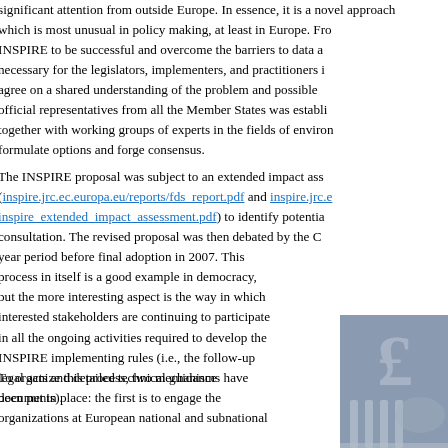significant attention from outside Europe. In essence, it is a novel approach which is most unusual in policy making, at least in Europe. From the beginning, for INSPIRE to be successful and overcome the barriers to data access, it was necessary for the legislators, implementers, and practitioners involved to agree on a shared understanding of the problem and possible solutions. An official representatives from all the Member States was established, together with working groups of experts in the fields of environment to formulate options and forge consensus.
The INSPIRE proposal was subject to an extended impact assessment (inspire.jrc.ec.europa.eu/reports/fds_report.pdf and inspire.jrc.ec.europa.eu/inspire_extended_impact_assessment.pdf) to identify potential issues through wide consultation. The revised proposal was then debated by the Council over a three year period before final adoption in 2007. This process in itself is a good example in democracy, but the more interesting aspect is the way in which interested stakeholders are continuing to participate in all the ongoing activities required to develop the INSPIRE implementing rules (i.e., the follow-up legal acts and detailed technical guidance documents).
To organize this process, two mechanisms have been put in place: the first is to engage the organizations at European national and subnational
[Figure (photo): Partial view of a publication cover showing a large currency symbol (£) and architectural imagery including columns and a bridge or landscape scene.]